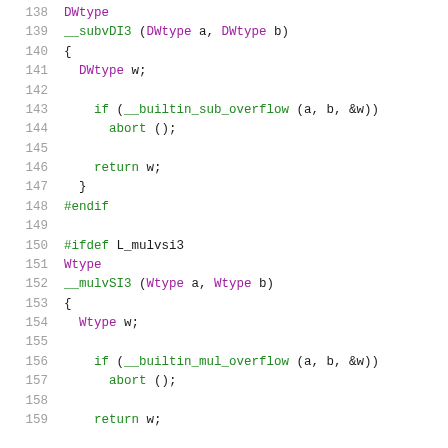[Figure (screenshot): Source code listing showing C code lines 138-158, featuring DWtype and Wtype function definitions with overflow checking using __builtin_sub_overflow and __builtin_mul_overflow, with preprocessor directives #endif and #ifdef L_mulvsi3]